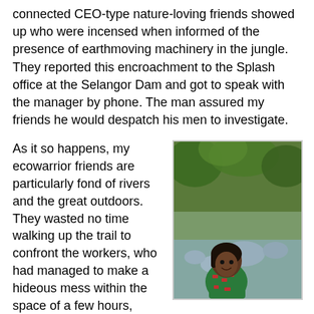connected CEO-type nature-loving friends showed up who were incensed when informed of the presence of earthmoving machinery in the jungle. They reported this encroachment to the Splash office at the Selangor Dam and got to speak with the manager by phone. The man assured my friends he would despatch his men to investigate.
As it so happens, my ecowarrior friends are particularly fond of rivers and the great outdoors. They wasted no time walking up the trail to confront the workers, who had managed to make a hideous mess within the space of a few hours, scraping raw the already unstable embankment and leaving piles of loose earth on the steep slope facing the river.
[Figure (photo): A young girl with dark hair wearing a green and red patterned top, sitting by a rocky river with lush green jungle in the background.]
This is the rainy season. In a matter of days the earth will pollute the normally crystalline waters - and within